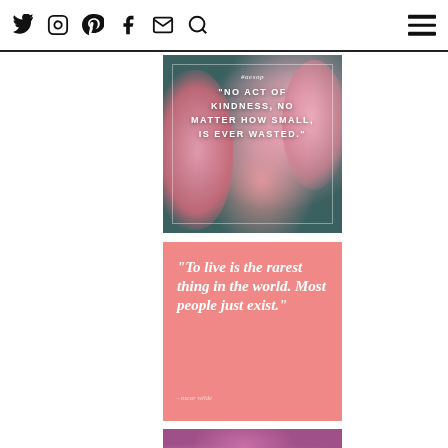Social media icons: Twitter, Instagram, Pinterest, Facebook, Mail, Search; Hamburger menu
[Figure (photo): Floral photo with teal/dark background, pink flowers, white border overlay, text: #aesop, "NO ACT OF KINDNESS, NO MATTER HOW SMALL, IS EVER WASTED."]
[Figure (photo): Pink/salmon solid background with white italic quote: "To live is the rarest thing in the world. Most people just exist." attribution below]
[Figure (photo): Purple floral photo with text overlay: "CREATIVITY IS"]